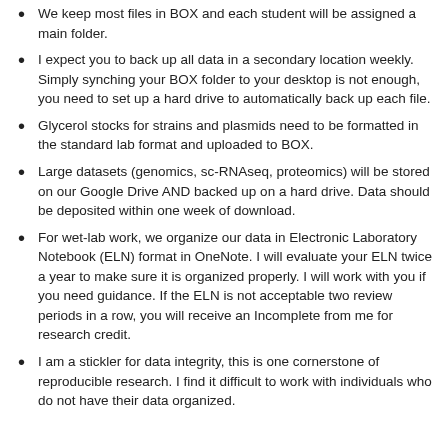We keep most files in BOX and each student will be assigned a main folder.
I expect you to back up all data in a secondary location weekly. Simply synching your BOX folder to your desktop is not enough, you need to set up a hard drive to automatically back up each file.
Glycerol stocks for strains and plasmids need to be formatted in the standard lab format and uploaded to BOX.
Large datasets (genomics, sc-RNAseq, proteomics) will be stored on our Google Drive AND backed up on a hard drive. Data should be deposited within one week of download.
For wet-lab work, we organize our data in Electronic Laboratory Notebook (ELN) format in OneNote. I will evaluate your ELN twice a year to make sure it is organized properly. I will work with you if you need guidance. If the ELN is not acceptable two review periods in a row, you will receive an Incomplete from me for research credit.
I am a stickler for data integrity, this is one cornerstone of reproducible research. I find it difficult to work with individuals who do not have their data organized.